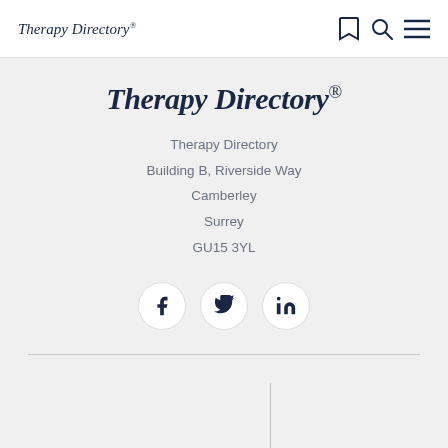Therapy Directory
Therapy Directory
Therapy Directory
Building B, Riverside Way
Camberley
Surrey
GU15 3YL
[Figure (other): Social media icons: Facebook, Twitter, LinkedIn in circular buttons]
[Figure (other): Bottom section with a vertical divider line on a light grey background]